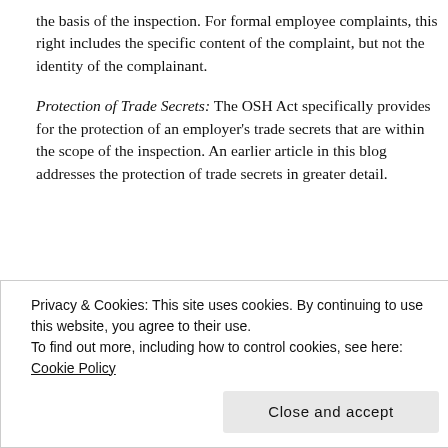the basis of the inspection. For formal employee complaints, this right includes the specific content of the complaint, but not the identity of the complainant.
Protection of Trade Secrets: The OSH Act specifically provides for the protection of an employer's trade secrets that are within the scope of the inspection. An earlier article in this blog addresses the protection of trade secrets in greater detail.
[Figure (photo): Partially visible image showing cards with text '99% INVISIBLE' in yellow on a black background, with blue and red card visible behind.]
Privacy & Cookies: This site uses cookies. By continuing to use this website, you agree to their use.
To find out more, including how to control cookies, see here: Cookie Policy